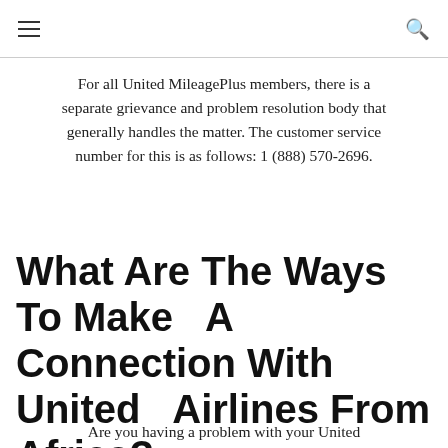≡  🔍
For all United MileagePlus members, there is a separate grievance and problem resolution body that generally handles the matter. The customer service number for this is as follows: 1 (888) 570-2696.
What Are The Ways To Make A Connection With United Airlines From Africa?
Are you having a problem with your United